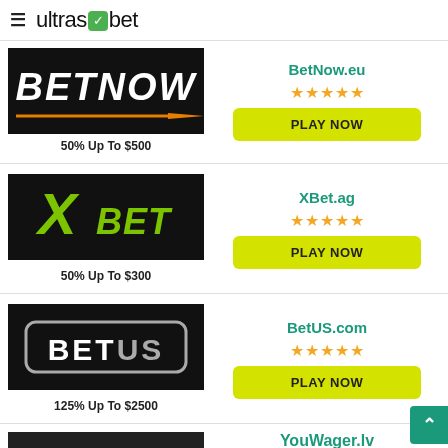ultrasbet
[Figure (logo): BetNow sportsbook logo — dark background with white bold italic BETNOW text and orange swoosh]
50% Up To $500
BetNow.eu
★★★★★
PLAY NOW
[Figure (logo): XBet sportsbook logo — dark background with large green X and XBET text]
50% Up To $300
XBet.ag
★★★★★
PLAY NOW
[Figure (logo): BetUS sportsbook logo — dark background with BETUS text in rounded rectangle border]
125% Up To $2500
BetUS.com
★★★★★
PLAY NOW
[Figure (logo): YouWager sportsbook logo — partially visible]
YouWager.lv